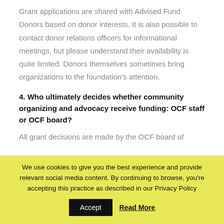Grant applications are shared with Advised Fund Donors based on donor interests. It is also possible to contact donor relations officers for informational meetings, but please understand their availability is quite limited. Donors themselves sometimes bring organizations to the foundation's attention.
4. Who ultimately decides whether community organizing and advocacy receive funding: OCF staff or OCF board?
All grant decisions are made by the OCF board of
We use cookies to give you the best experience and provide relevant social media content. By continuing to browse, you're accepting this practice as described in our Privacy Policy
Accept
Read More